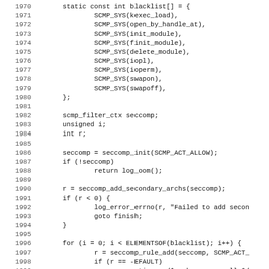[Figure (screenshot): Source code listing in monospace font showing C code with line numbers 1970-2002, containing a blacklist array of SCMP_SYS calls and seccomp filter initialization logic.]